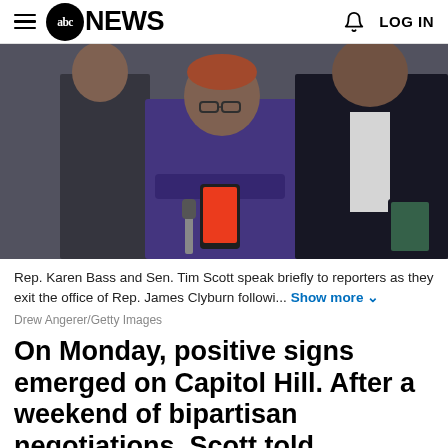abc NEWS  LOG IN
[Figure (photo): Rep. Karen Bass (center, in purple jacket with arms crossed) and Sen. Tim Scott (right, in dark suit with gold tie) speak to reporters holding microphones and phones in a Capitol Hill hallway, with another person on the left.]
Rep. Karen Bass and Sen. Tim Scott speak briefly to reporters as they exit the office of Rep. James Clyburn followi... Show more
Drew Angerer/Getty Images
On Monday, positive signs emerged on Capitol Hill. After a weekend of bipartisan negotiations, Scott told reporters a "framework" is starting to come together